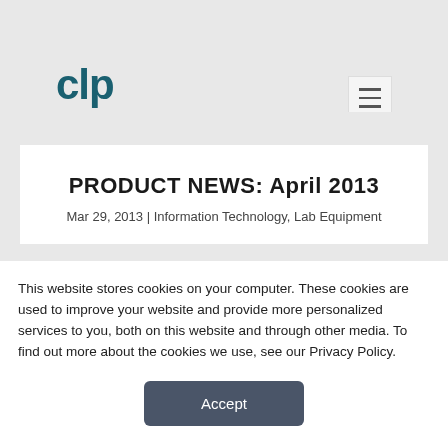clp
PRODUCT NEWS: April 2013
Mar 29, 2013 | Information Technology, Lab Equipment
This website stores cookies on your computer. These cookies are used to improve your website and provide more personalized services to you, both on this website and through other media. To find out more about the cookies we use, see our Privacy Policy.